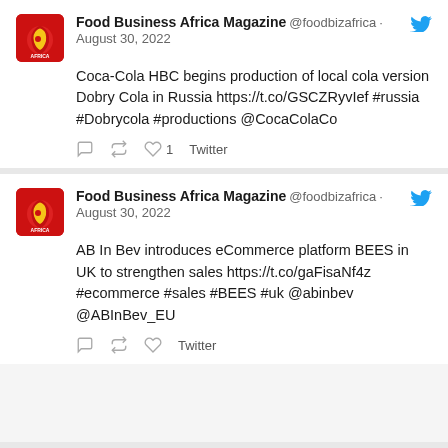Food Business Africa Magazine @foodbizafrica · August 30, 2022
Coca-Cola HBC begins production of local cola version Dobry Cola in Russia https://t.co/GSCZRyvIef #russia #Dobrycola #productions @CocaColaCo
Twitter
Food Business Africa Magazine @foodbizafrica · August 30, 2022
AB In Bev introduces eCommerce platform BEES in UK to strengthen sales https://t.co/gaFisaNf4z #ecommerce #sales #BEES #uk @abinbev @ABInBev_EU
Twitter